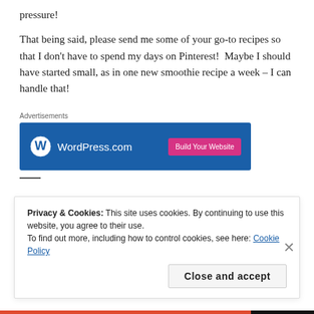pressure!
That being said, please send me some of your go-to recipes so that I don't have to spend my days on Pinterest!  Maybe I should have started small, as in one new smoothie recipe a week – I can handle that!
Advertisements
[Figure (screenshot): WordPress.com advertisement banner with blue background, WordPress logo and text on left, pink 'Build Your Website' button on right]
Privacy & Cookies: This site uses cookies. By continuing to use this website, you agree to their use.
To find out more, including how to control cookies, see here: Cookie Policy
Close and accept